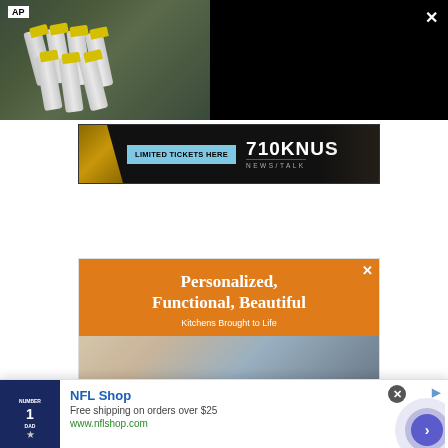[Figure (screenshot): AP news video thumbnail showing vaccine vials on the left, and related news text on the right on black background. Text reads: RELATED NEWS: - NYC ramps up monkeypox vaccine effort. Close button (×) in top right.]
[Figure (screenshot): 710 KNUS News/Talk radio advertisement banner with 'LIMITED TICKETS HERE' button on cyan background and 710 KNUS NEWS/TALK logo on dark background.]
[Figure (screenshot): Advertisement: Personalized, Functional, Beautiful - Kitchens Brought to Life. Orange header with white text, kitchen photo below. Close button (×) in top right.]
[Figure (screenshot): NFL Shop advertisement banner at bottom. Shows Dallas Cowboys jersey image, text: NFL Shop, Free shipping on orders over $25, www.nflshop.com. Blue chevron button on right with circular ripple graphic. Close (×) and ad icon in top right.]